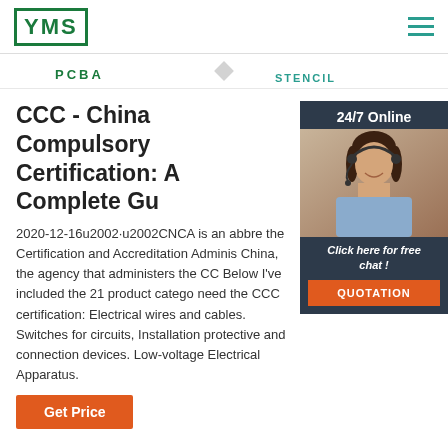[Figure (logo): YMS logo in green border box]
PCBA
STENCIL
[Figure (photo): 24/7 Online customer service agent with headset, dark background sidebar widget with Click here for free chat and QUOTATION button]
CCC - China Compulsory Certification: A Complete Gu
2020-12-16u2002·u2002CNCA is an abbre the Certification and Accreditation Adminis China, the agency that administers the CC Below I've included the 21 product catego need the CCC certification: Electrical wires and cables. Switches for circuits, Installation protective and connection devices. Low-voltage Electrical Apparatus.
Get Price